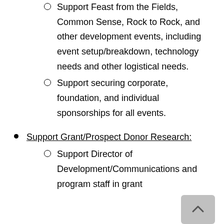Support Feast from the Fields, Common Sense, Rock to Rock, and other development events, including event setup/breakdown, technology needs and other logistical needs.
Support securing corporate, foundation, and individual sponsorships for all events.
Support Grant/Prospect Donor Research:
Support Director of Development/Communications and program staff in grant